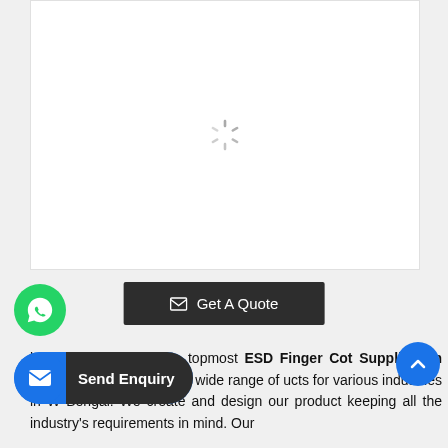[Figure (other): Loading spinner / image placeholder with white background and gray border]
Get A Quote
ky System Pvt Ltd is a topmost ESD Finger Cot Suppliers in West Bengal and offers a wide range of ucts for various industries in W Bengal. We create and design our product keeping all the industry's requirements in mind. Our